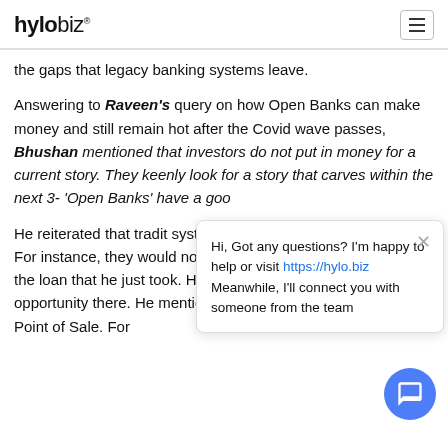hylobiz®
the gaps that legacy banking systems leave.
Answering to Raveen's query on how Open Banks can make money and still remain hot after the Covid wave passes, Bhushan mentioned that investors do not put in money for a current story. They keenly look for a story that carves within the next 3- 'Open Banks' have a goo
He reiterated that tradit systems do not have th that happens. For instance, they would not know of how a person would use the loan that he just took. Howev Open Banks have a good opportunity there. He mentioned that we need services at the Point of Sale. For
Hi, Got any questions? I'm happy to help or visit https://hylo.biz Meanwhile, I'll connect you with someone from the team